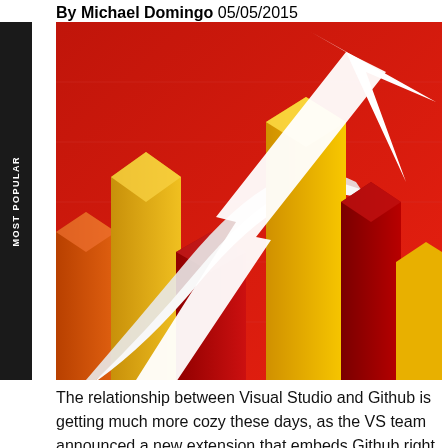By Michael Domingo 05/05/2015
[Figure (illustration): 3D bar chart illustration with rising bars in red, orange, yellow, and white, featuring a large white upward-pointing arrow, on a red gradient background]
The relationship between Visual Studio and Github is getting much more cozy these days, as the VS team announced a new extension that embeds Github right into Visual Studio 2015 RC.